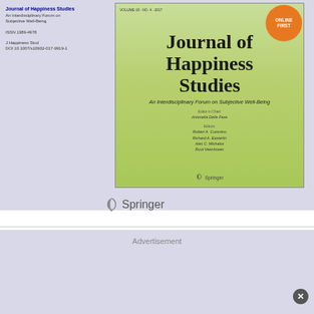[Figure (illustration): Journal of Happiness Studies cover page shown in a browser screenshot. The cover features a green gradient background with the journal title 'Journal of Happiness Studies', subtitle 'An Interdisciplinary Forum on Subjective Well-Being', editor names, and Springer publisher logo. An orange 'ONLINE FIRST' badge appears in the top right corner. Left sidebar shows journal metadata including ISSN 1389-4978 and DOI.]
Journal of Happiness Studies
An Interdisciplinary Forum on Subjective Well-Being
ISSN 1389-4978
J Happiness Stud
DOI 10.1007/s10902-017-9919-1
Advertisement
[Figure (infographic): ThermoFisher Scientific advertisement banner with red left section showing ThermoFisher Scientific logo and dark blue right section with white bold text 'DID YOU KNOW...']